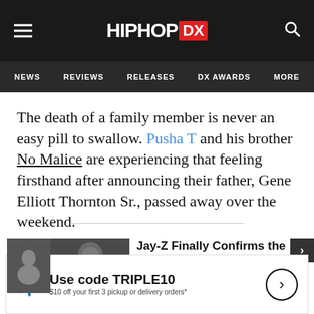HIPHOP DX — NEWS | REVIEWS | RELEASES | DX AWARDS | MORE
The death of a family member is never an easy pill to swallow. Pusha T and his brother No Malice are experiencing that feeling firsthand after announcing their father, Gene Elliott Thornton Sr., passed away over the weekend.
[Figure (photo): Jay-Z headshot with smaller inset photo thumbnail in top-left corner]
Jay-Z Finally Confirms the Cheating Rumors
Musicaholics
[Figure (photo): Bottom thumbnail photo of two people]
Celeb You Didn't Know Are S...
[Figure (infographic): Walmart advertisement banner: Use code TRIPLE10 — $10 off your first 3 pickup or delivery orders*]